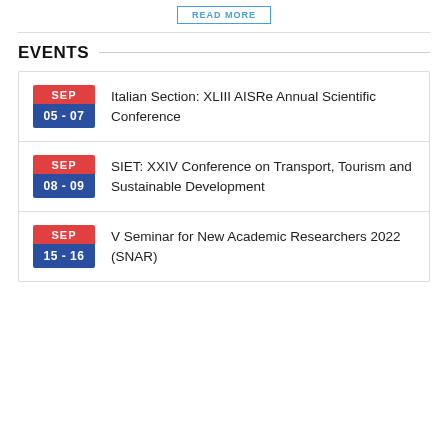READ MORE
EVENTS
SEP 05 - 07 Italian Section: XLIII AISRe Annual Scientific Conference
SEP 08 - 09 SIET: XXIV Conference on Transport, Tourism and Sustainable Development
SEP 15 - 16 V Seminar for New Academic Researchers 2022 (SNAR)